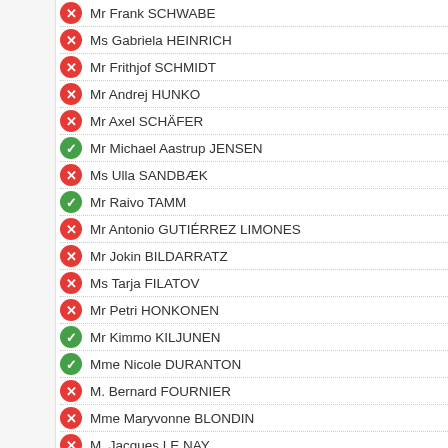Mr Frank SCHWABE
Ms Gabriela HEINRICH
Mr Frithjof SCHMIDT
Mr Andrej HUNKO
Mr Axel SCHÄFER
Mr Michael Aastrup JENSEN
Ms Ulla SANDBÆK
Mr Raivo TAMM
Mr Antonio GUTIÉRREZ LIMONES
Mr Jokin BILDARRATZ
Ms Tarja FILATOV
Mr Petri HONKONEN
Mr Kimmo KILJUNEN
Mme Nicole DURANTON
M. Bernard FOURNIER
Mme Maryvonne BLONDIN
M. Jacques LE NAY